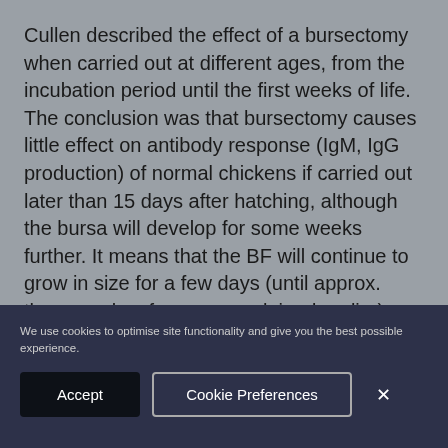Cullen described the effect of a bursectomy when carried out at different ages, from the incubation period until the first weeks of life. The conclusion was that bursectomy causes little effect on antibody response (IgM, IgG production) of normal chickens if carried out later than 15 days after hatching, although the bursa will develop for some weeks further. It means that the BF will continue to grow in size for a few days (until approx. three weeks of age, as explained earlier). However, its biological functions are fully
We use cookies to optimise site functionality and give you the best possible experience.